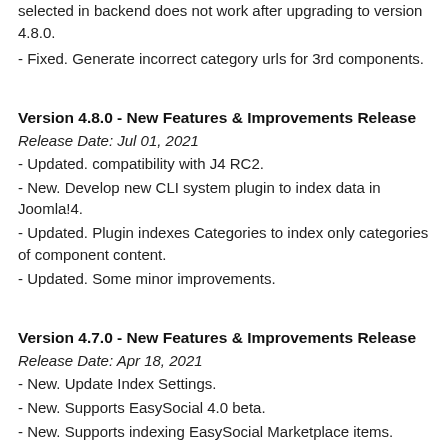selected in backend does not work after upgrading to version 4.8.0.
- Fixed. Generate incorrect category urls for 3rd components.
Version 4.8.0 - New Features & Improvements Release
Release Date: Jul 01, 2021
- Updated. compatibility with J4 RC2.
- New. Develop new CLI system plugin to index data in Joomla!4.
- Updated. Plugin indexes Categories to index only categories of component content.
- Updated. Some minor improvements.
Version 4.7.0 - New Features & Improvements Release
Release Date: Apr 18, 2021
- New. Update Index Settings.
- New. Supports EasySocial 4.0 beta.
- New. Supports indexing EasySocial Marketplace items.
- Updated. Plugin indexes articles to add new setting that